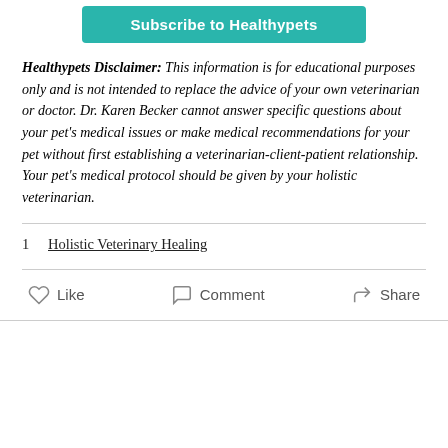[Figure (other): Subscribe to Healthypets button (teal/green)]
Healthypets Disclaimer: This information is for educational purposes only and is not intended to replace the advice of your own veterinarian or doctor. Dr. Karen Becker cannot answer specific questions about your pet's medical issues or make medical recommendations for your pet without first establishing a veterinarian-client-patient relationship. Your pet's medical protocol should be given by your holistic veterinarian.
1   Holistic Veterinary Healing
Like   Comment   Share